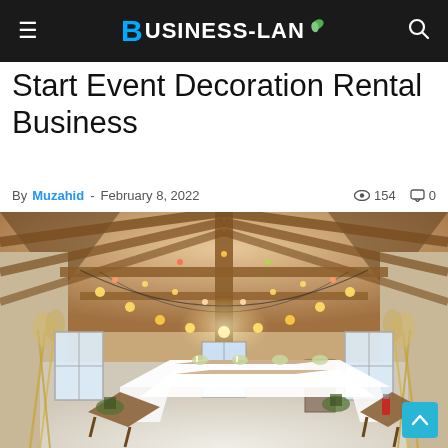Business-Lane
Start Event Decoration Rental Business
By Muzahid - February 8, 2022  154  0
[Figure (photo): Interior of a rustic barn event venue decorated for a wedding or banquet. Long tables with white linens and wooden benches are arranged in rows. String lights and Edison bulbs hang from the wooden beam ceiling. Pampas grass decorations line the sides. A fire extinguisher is visible on the right wall.]